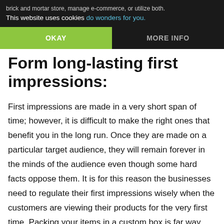brick and mortar store, manage e-commerce, or utilize both.
This website uses cookies do wonders for you.
OKAY
MORE INFO
Form long-lasting first impressions:
First impressions are made in a very short span of time; however, it is difficult to make the right ones that benefit you in the long run. Once they are made on a particular target audience, they will remain forever in the minds of the audience even though some hard facts oppose them. It is for this reason the businesses need to regulate their first impressions wisely when the customers are viewing their products for the very first time. Packing your items in a custom box is far way best than packing them in plain packaging. This box comes designed with attractive designs and amazing to feel textures. So, it will become the first-ever